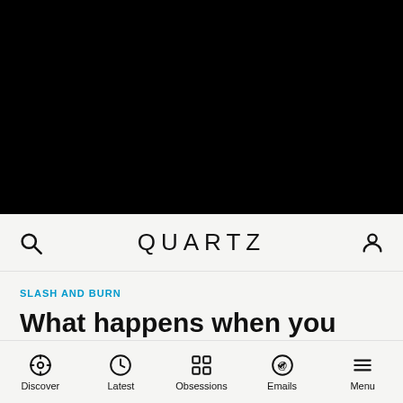[Figure (photo): Black rectangle representing a dark/video image area at the top of the page]
QUARTZ
SLASH AND BURN
What happens when you add zombies to Jane Austen? Lots of